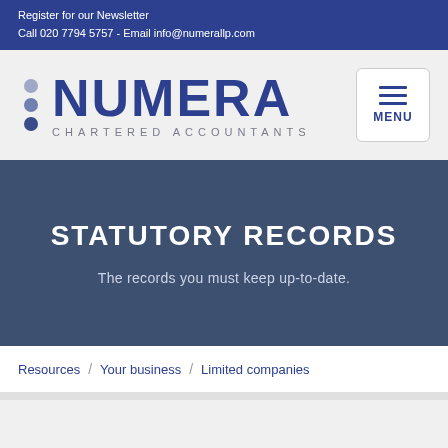Register for our Newsletter
Call 020 7794 5757 - Email info@numerallp.com
[Figure (logo): Numera Chartered Accountants logo with three colored dots and MENU button]
STATUTORY RECORDS
The records you must keep up-to-date.
Resources / Your business / Limited companies